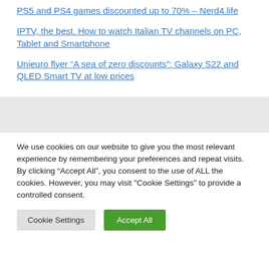PS5 and PS4 games discounted up to 70% – Nerd4.life
IPTV, the best. How to watch Italian TV channels on PC, Tablet and Smartphone
Unieuro flyer “A sea of zero discounts”: Galaxy S22 and QLED Smart TV at low prices
We use cookies on our website to give you the most relevant experience by remembering your preferences and repeat visits. By clicking “Accept All”, you consent to the use of ALL the cookies. However, you may visit "Cookie Settings" to provide a controlled consent.